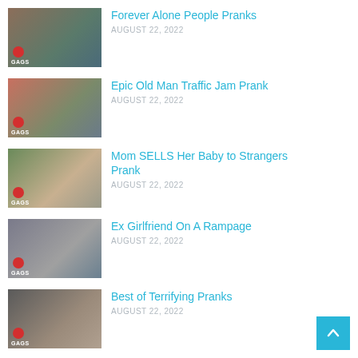Forever Alone People Pranks — AUGUST 22, 2022
Epic Old Man Traffic Jam Prank — AUGUST 22, 2022
Mom SELLS Her Baby to Strangers Prank — AUGUST 22, 2022
Ex Girlfriend On A Rampage — AUGUST 22, 2022
Best of Terrifying Pranks — AUGUST 22, 2022
Most Chaotic Pranks of 2022 — AUGUST 22, 2022